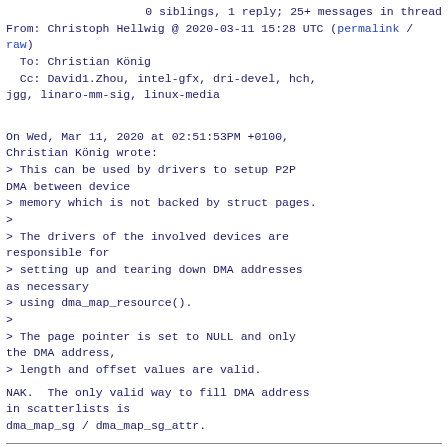0 siblings, 1 reply; 25+ messages in thread
From: Christoph Hellwig @ 2020-03-11 15:28 UTC (permalink / raw)
  To: Christian König
  Cc: David1.Zhou, intel-gfx, dri-devel, hch, jgg, linaro-mm-sig, linux-media
On Wed, Mar 11, 2020 at 02:51:53PM +0100, Christian König wrote:
> This can be used by drivers to setup P2P DMA between device
> memory which is not backed by struct pages.
>
> The drivers of the involved devices are responsible for
> setting up and tearing down DMA addresses as necessary
> using dma_map_resource().
>
> The page pointer is set to NULL and only the DMA address,
> length and offset values are valid.
NAK.  The only valid way to fill DMA address in scatterlists is
dma_map_sg / dma_map_sg_attr.
Intel-gfx mailing list
Intel-gfx@lists.freedesktop.org
https://lists.freedesktop.org/mailman/listinfo